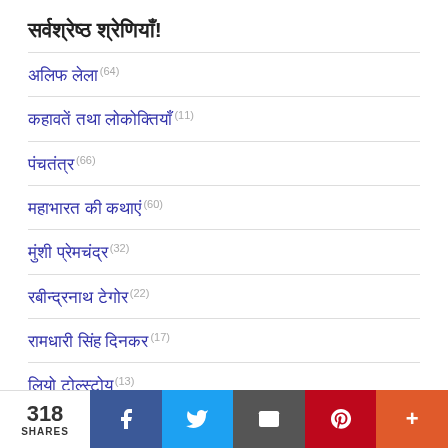सर्वश्रेष्ठ श्रेणियाँ!
अलिफ लेला (64)
कहावतें तथा लोकोक्तियाँ (11)
पंचतंत्र (66)
महाभारत की कथाएं (60)
मुंशी प्रेमचंद्र (32)
रबीन्द्रनाथ टेगोर (22)
रामधारी सिंह दिनकर (17)
लियो टोल्स्टोय (13)
318 SHARES